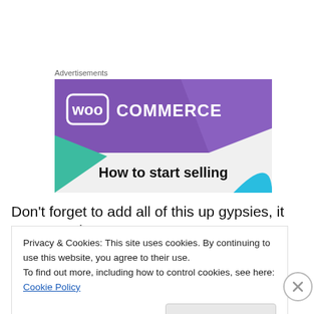Advertisements
[Figure (illustration): WooCommerce advertisement banner showing the WooCommerce logo on a purple background with teal and blue geometric shapes, and the text 'How to start selling']
Don’t forget to add all of this up gypsies, it can come in
Privacy & Cookies: This site uses cookies. By continuing to use this website, you agree to their use.
To find out more, including how to control cookies, see here: Cookie Policy
Close and accept